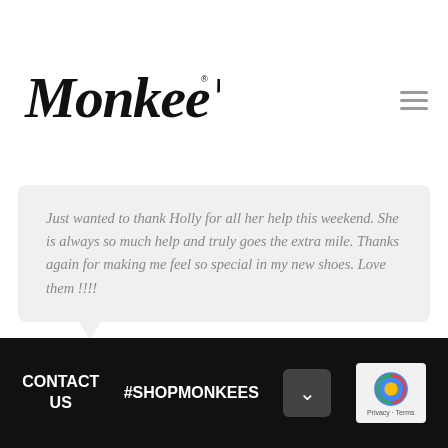[Figure (logo): Monkee's brand logo in stylized handwritten script font]
Just wanted to thank Holly for all her help this weekend. She is always so much help and truly goes the extra mile. Thanks again for making me feel so special in my new shoes. Love them !!!!
Jessica, from Facebook
CONTACT US   #SHOPMONKEES   SOCIAL